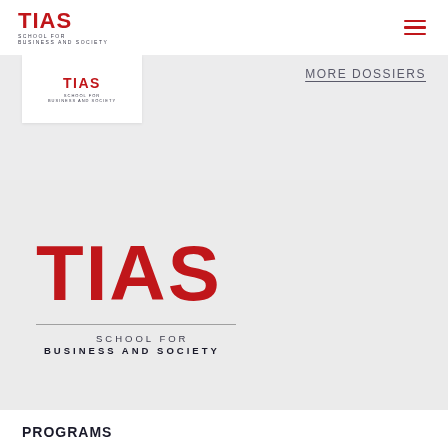[Figure (logo): TIAS School for Business and Society logo in header — red TIAS text with tagline below]
[Figure (logo): Hamburger menu icon (three red horizontal lines)]
[Figure (logo): TIAS School for Business and Society small logo in white box on gray banner]
MORE DOSSIERS
[Figure (logo): Large TIAS logo in red on light gray background with horizontal rule and SCHOOL FOR / BUSINESS AND SOCIETY tagline]
PROGRAMS